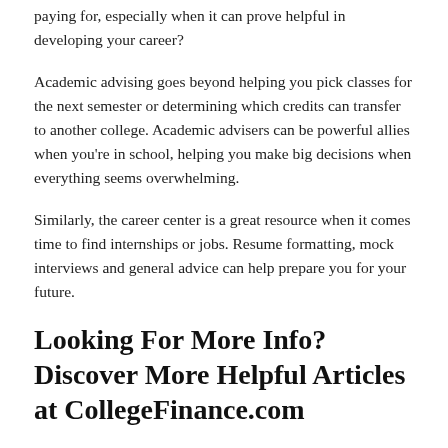paying for, especially when it can prove helpful in developing your career?
Academic advising goes beyond helping you pick classes for the next semester or determining which credits can transfer to another college. Academic advisers can be powerful allies when you're in school, helping you make big decisions when everything seems overwhelming.
Similarly, the career center is a great resource when it comes time to find internships or jobs. Resume formatting, mock interviews and general advice can help prepare you for your future.
Looking For More Info? Discover More Helpful Articles at CollegeFinance.com
Researching schools, applying to college, taking placement tests and selecting courses can be an exhausting process. It's